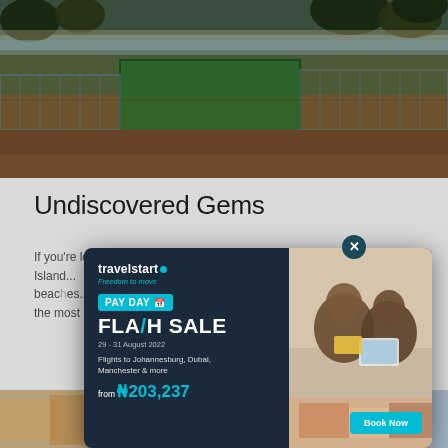[Figure (photo): Outdoor construction site near a beach with green netting, wooden/metal fencing structures, sandy ground and trees in background]
Undiscovered Gems
If you're looking for hidden gems like Island... beautiful beaches... the most...
[Figure (infographic): Travelstart Pay Day Flash Sale advertisement popup. Shows travelstart logo with tagline Freedom to move, PAY DAY badge, FLASH SALE heading, dates 29-31 August 2022, Flights to Johannesburg, Dubai, Manchester & more, from ₦203,237, Book Now button, and photo of two people looking at a tablet.]
[Figure (photo): Blurred photo of colorful items at bottom left]
This website uses cookies to improve your experience. By continuing, you agree to our cookie and privacy policy.